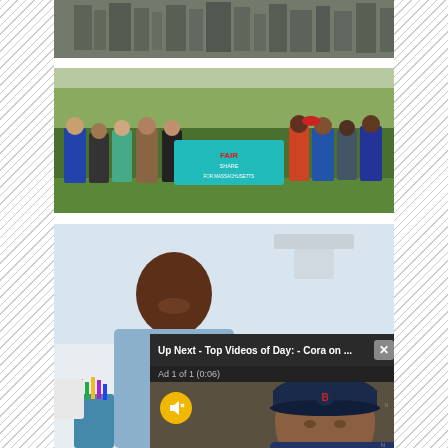[Figure (photo): Cropped aerial view of a dense urban neighborhood with buildings and rooftops]
[Figure (photo): Group of people standing outdoors holding a teal 'Fair Share for Massachusetts' banner, trees in background]
[Figure (photo): Healthcare worker in blue scrubs smiling, partial view, with a video player overlay showing 'Up Next - Top Videos of Day: - Cora on ...' with an ad countdown '1 of 1 (0:06)' and a mute button, and a man in a Boston Red Sox cap in the video]
Up Next - Top Videos of Day: - Cora on ...
Ad 1 of 1 (0:06)